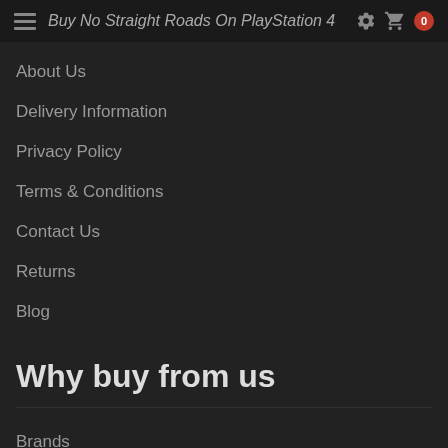Buy No Straight Roads On PlayStation 4
About Us
Delivery Information
Privacy Policy
Terms & Conditions
Contact Us
Returns
Blog
Why buy from us
Brands
Gift Certificates
Affiliates